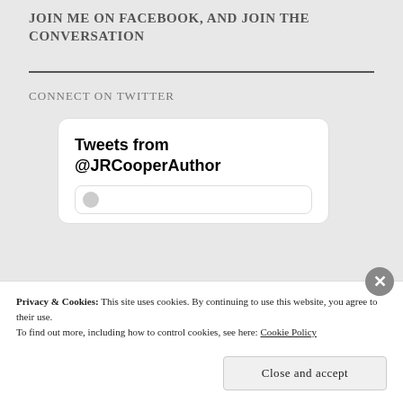JOIN ME ON FACEBOOK, AND JOIN THE CONVERSATION
CONNECT ON TWITTER
[Figure (screenshot): Twitter widget showing 'Tweets from @JRCooperAuthor' embedded widget card with partial tweet visible below]
Privacy & Cookies: This site uses cookies. By continuing to use this website, you agree to their use.
To find out more, including how to control cookies, see here: Cookie Policy
Close and accept